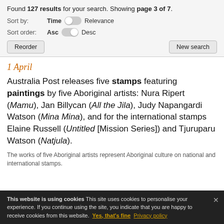Found 127 results for your search. Showing page 3 of 7.
Sort by: Time | Relevance
Sort order: Asc | Desc
Reorder | New search
1 April
Australia Post releases five stamps featuring paintings by five Aboriginal artists: Nura Ripert (Mamu), Jan Billycan (All the Jila), Judy Napangardi Watson (Mina Mina), and for the international stamps Elaine Russell (Untitled [Mission Series]) and Tjuruparu Watson (Natjula).
The works of five Aboriginal artists represent Aboriginal culture on national and international stamps.
This website is using cookies This site uses cookies to personalise your experience. If you continue using the site, you indicate that you are happy to receive cookies from this website. Yes, that's fine Privacy policy